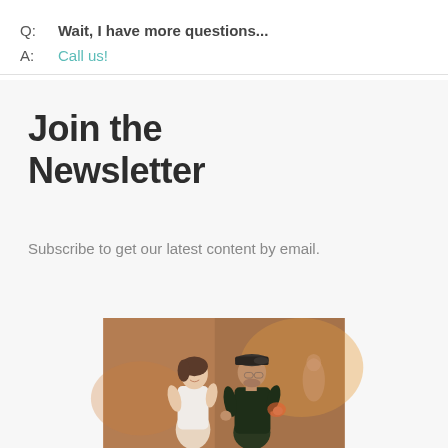Q:   Wait, I have more questions...
A:   Call us!
Join the Newsletter
Subscribe to get our latest content by email.
[Figure (photo): Two people dancing together, a woman in a white top and a man in a dark t-shirt and flat cap, at an event with colorful background lighting]